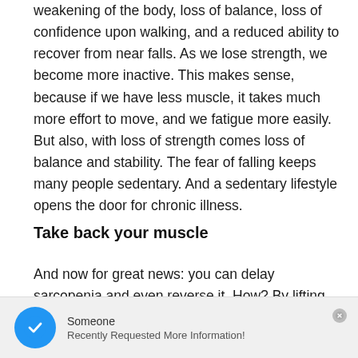weakening of the body, loss of balance, loss of confidence upon walking, and a reduced ability to recover from near falls.  As we lose strength, we become more inactive.  This makes sense, because if we have less muscle, it takes much more effort to move, and we fatigue more easily.  But also, with loss of strength comes loss of balance and stability.  The fear of falling keeps many people sedentary.  And a sedentary lifestyle opens the door for chronic illness.
Take back your muscle
And now for great news:  you can delay sarcopenia and even reverse it.  How?  By lifting weights.  Even though
[Figure (infographic): Notification bar at the bottom showing a blue circle with white checkmark icon, the name 'Someone', and the message 'Recently Requested More Information!' with a close button (circle X) in the top right.]